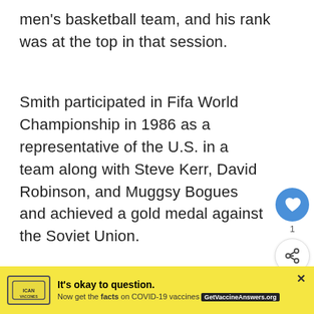men's basketball team, and his rank was at the top in that session.
Smith participated in Fifa World Championship in 1986 as a representative of the U.S. in a team along with Steve Kerr, David Robinson, and Muggsy Bogues and achieved a gold medal against the Soviet Union.
Height is a significant thing in ba… this 6 feet 3 inches player got appointed in th…